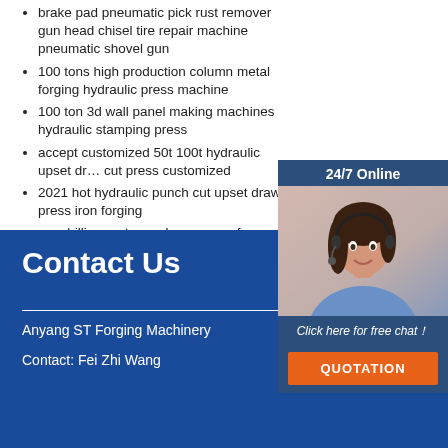brake pad pneumatic pick rust remover gun head chisel tire repair machine pneumatic shovel gun
100 tons high production column metal forging hydraulic press machine
100 ton 3d wall panel making machines hydraulic stamping press
accept customized 50t 100t hydraulic upset draw cut press customized
2021 hot hydraulic punch cut upset draw press iron forging
cnc drilling parts number cross reference auto manufacturing machinery
2021 hot hydraulic blacksmith press making ku
[Figure (photo): Customer service representative with headset, smiling. Overlaid with 24/7 Online banner, Click here for free chat text, and QUOTATION button.]
Contact Us
Anyang ST Forging Machinery
Contact: Fei Zhi Wang